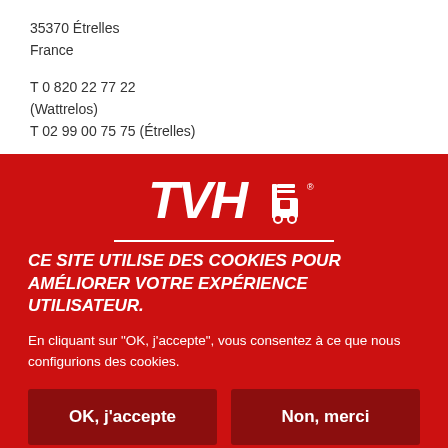35370 Étrelles
France
T 0 820 22 77 22
(Wattrelos)
T 02 99 00 75 75 (Étrelles)
[Figure (logo): TVH logo in white on red background]
CE SITE UTILISE DES COOKIES POUR AMÉLIORER VOTRE EXPÉRIENCE UTILISATEUR.
En cliquant sur "OK, j'accepte", vous consentez à ce que nous configurions des cookies.